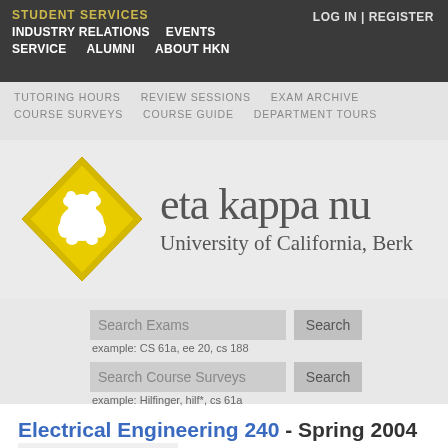STUDENT SERVICES | INDUSTRY RELATIONS | EVENTS | SERVICE | ALUMNI | ABOUT HKN | LOG IN | REGISTER
TUTORING HOURS | REVIEW SESSIONS | EXAM ARCHIVE | COURSE SURVEYS | COURSE GUIDE | DEPARTMENT TOURS
[Figure (logo): Eta Kappa Nu (HKN) logo - yellow diamond shape with white bear inside, text 'eta kappa nu' and 'University of California, Berk']
Search Exams [input] Search
example: CS 61a, ee 20, cs 188
Search Course Surveys [input] Search
example: Hilfinger, hilf*, cs 61a
Electrical Engineering 240 - Spring 2004
| Instructor |
| --- |